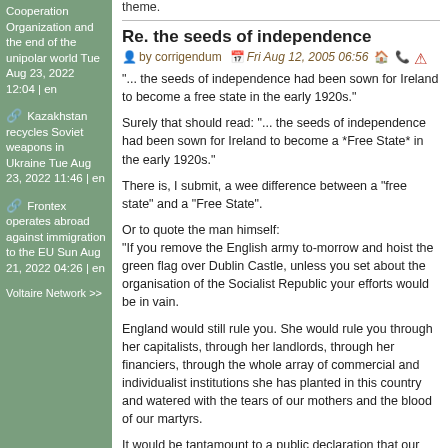theme.
Cooperation Organization and the end of the unipolar world Tue Aug 23, 2022 12:04 | en
Kazakhstan recycles Soviet weapons in Ukraine Tue Aug 23, 2022 11:46 | en
Frontex operates abroad against immigration to the EU Sun Aug 21, 2022 04:26 | en
Voltaire Network >>
Re. the seeds of independence
by corrigendum   Fri Aug 12, 2005 06:56
"... the seeds of independence had been sown for Ireland to become a free state in the early 1920s."
Surely that should read: "... the seeds of independence had been sown for Ireland to become a *Free State* in the early 1920s."
There is, I submit, a wee difference between a "free state" and a "Free State".
Or to quote the man himself:
"If you remove the English army to-morrow and hoist the green flag over Dublin Castle, unless you set about the organisation of the Socialist Republic your efforts would be in vain.
England would still rule you. She would rule you through her capitalists, through her landlords, through her financiers, through the whole array of commercial and individualist institutions she has planted in this country and watered with the tears of our mothers and the blood of our martyrs.
It would be tantamount to a public declaration that our